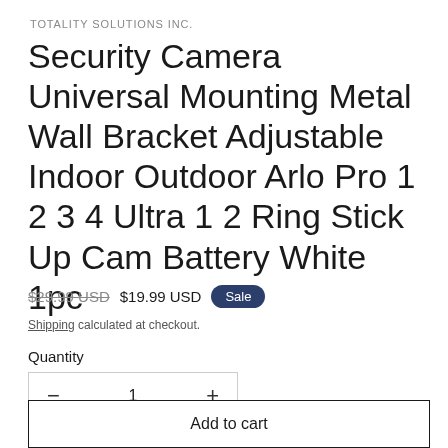TOTALITY SOLUTIONS INC.
Security Camera Universal Mounting Metal Wall Bracket Adjustable Indoor Outdoor Arlo Pro 1 2 3 4 Ultra 1 2 Ring Stick Up Cam Battery White 1pc
$29.99 USD  $19.99 USD  Sale
Shipping calculated at checkout.
Quantity
1
Add to cart